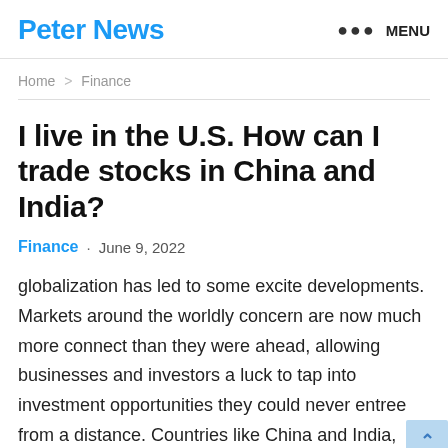Peter News  ••• MENU
Home > Finance
I live in the U.S. How can I trade stocks in China and India?
Finance • June 9, 2022
globalization has led to some excite developments. Markets around the worldly concern are now much more connect than they were ahead, allowing businesses and investors a luck to tap into investment opportunities they could never entree from a distance. Countries like China and India,